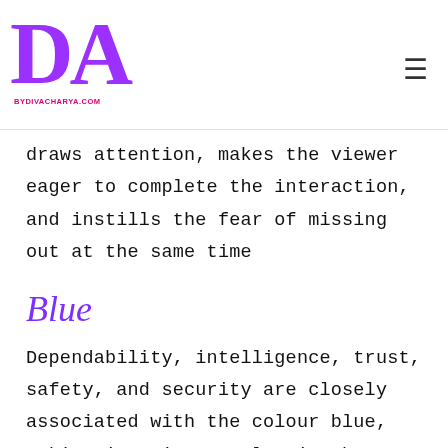BYDIVACHARYA.COM
draws attention, makes the viewer eager to complete the interaction, and instills the fear of missing out at the same time
Blue
Dependability, intelligence, trust, safety, and security are closely associated with the colour blue, making it quite popular in the business world — especially the financial sector.